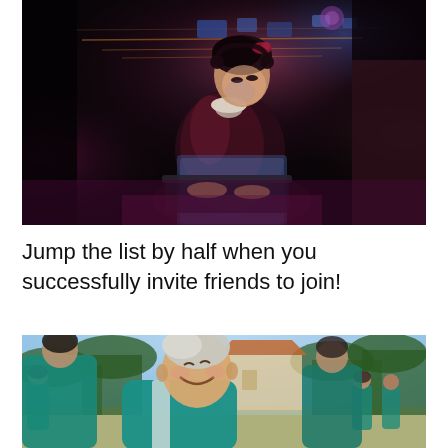[Figure (photo): A young woman wearing headphones and sitting in a dark, neon-lit environment, working on a laptop. The scene has a cinematic, dramatic atmosphere with blue and red lighting.]
Jump the list by half when you successfully invite friends to join!
[Figure (photo): An elderly Asian man smiling and laughing, wearing a teal/green tracksuit, in an outdoor setting. Other people in similar green tracksuits are visible in the background. A purple Subscribe button with an envelope icon is overlaid in the bottom right.]